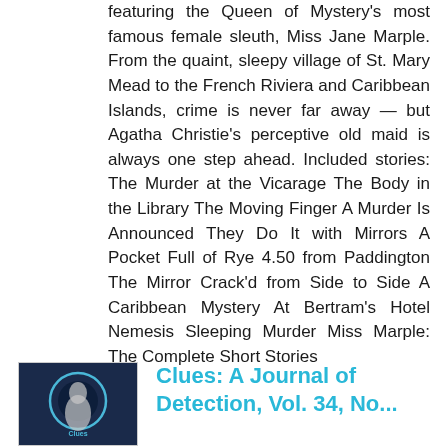featuring the Queen of Mystery's most famous female sleuth, Miss Jane Marple. From the quaint, sleepy village of St. Mary Mead to the French Riviera and Caribbean Islands, crime is never far away — but Agatha Christie's perceptive old maid is always one step ahead. Included stories: The Murder at the Vicarage The Body in the Library The Moving Finger A Murder Is Announced They Do It with Mirrors A Pocket Full of Rye 4.50 from Paddington The Mirror Crack'd from Side to Side A Caribbean Mystery At Bertram's Hotel Nemesis Sleeping Murder Miss Marple: The Complete Short Stories
[Figure (illustration): Book cover thumbnail for Clues: A Journal of Detection, dark blue background with circular graphic]
Clues: A Journal of Detection, Vol. 34, No...